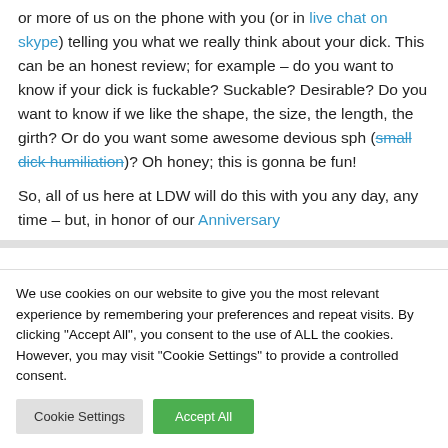or more of us on the phone with you (or in live chat on skype) telling you what we really think about your dick. This can be an honest review; for example – do you want to know if your dick is fuckable? Suckable? Desirable? Do you want to know if we like the shape, the size, the length, the girth? Or do you want some awesome devious sph (small dick humiliation)? Oh honey; this is gonna be fun!

So, all of us here at LDW will do this with you any day, any time – but, in honor of our Anniversary
We use cookies on our website to give you the most relevant experience by remembering your preferences and repeat visits. By clicking "Accept All", you consent to the use of ALL the cookies. However, you may visit "Cookie Settings" to provide a controlled consent.